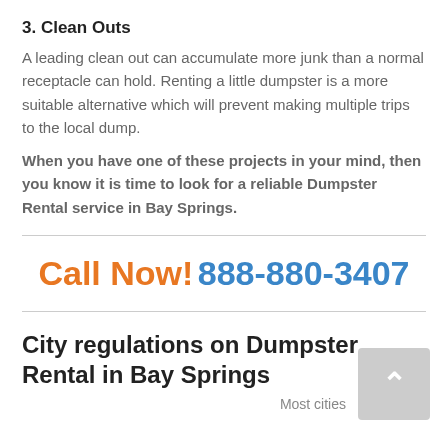3. Clean Outs
A leading clean out can accumulate more junk than a normal receptacle can hold. Renting a little dumpster is a more suitable alternative which will prevent making multiple trips to the local dump.
When you have one of these projects in your mind, then you know it is time to look for a reliable Dumpster Rental service in Bay Springs.
Call Now! 888-880-3407
City regulations on Dumpster Rental in Bay Springs
Most cities